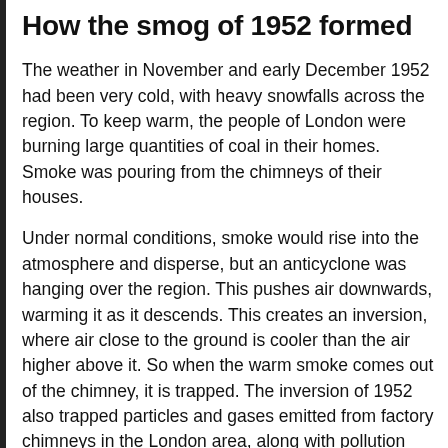How the smog of 1952 formed
The weather in November and early December 1952 had been very cold, with heavy snowfalls across the region. To keep warm, the people of London were burning large quantities of coal in their homes. Smoke was pouring from the chimneys of their houses.
Under normal conditions, smoke would rise into the atmosphere and disperse, but an anticyclone was hanging over the region. This pushes air downwards, warming it as it descends. This creates an inversion, where air close to the ground is cooler than the air higher above it. So when the warm smoke comes out of the chimney, it is trapped. The inversion of 1952 also trapped particles and gases emitted from factory chimneys in the London area, along with pollution which the winds from the east had brought from industrial areas on the continent.